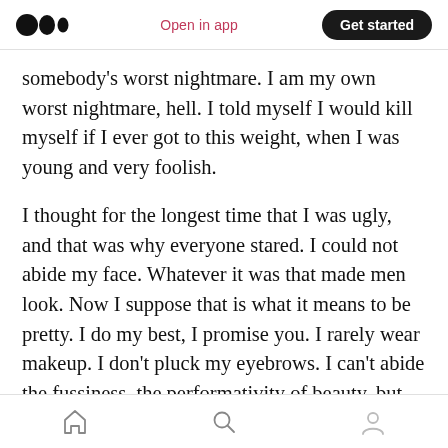Medium logo | Open in app | Get started
somebody's worst nightmare. I am my own worst nightmare, hell. I told myself I would kill myself if I ever got to this weight, when I was young and very foolish.
I thought for the longest time that I was ugly, and that was why everyone stared. I could not abide my face. Whatever it was that made men look. Now I suppose that is what it means to be pretty. I do my best, I promise you. I rarely wear makeup. I don't pluck my eyebrows. I can't abide the fussiness, the performativity of beauty, but
Home | Search | Profile